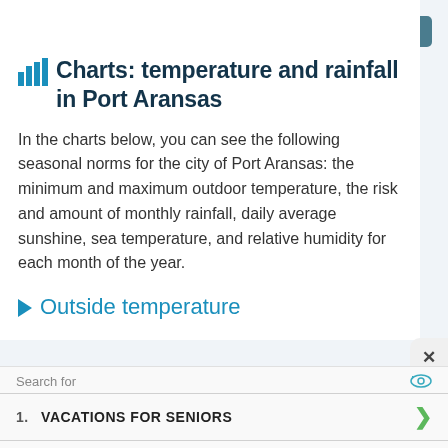Change units
Charts: temperature and rainfall in Port Aransas
In the charts below, you can see the following seasonal norms for the city of Port Aransas: the minimum and maximum outdoor temperature, the risk and amount of monthly rainfall, daily average sunshine, sea temperature, and relative humidity for each month of the year.
Outside temperature
Search for
1.  VACATIONS FOR SENIORS
2.  WEEKEND GETAWAY PACKAGES
Ad | Business Focus